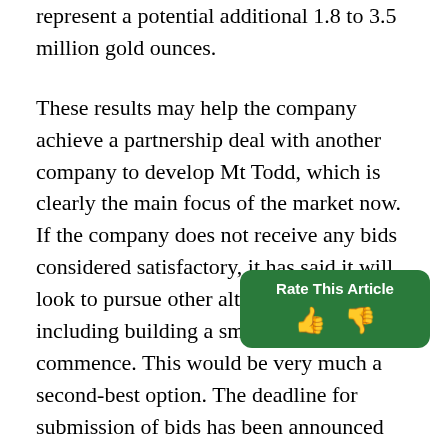represent a potential additional 1.8 to 3.5 million gold ounces.
These results may help the company achieve a partnership deal with another company to develop Mt Todd, which is clearly the main focus of the market now. If the company does not receive any bids considered satisfactory, it has said it will look to pursue other alternatives, including building a small mine to commence. This would be very much a second-best option. The deadline for submission of bids has been announced publicly. The company has referred to a go-it-alone path more often recently, and the market weakness is not helping. But the risk-reward at this price remains